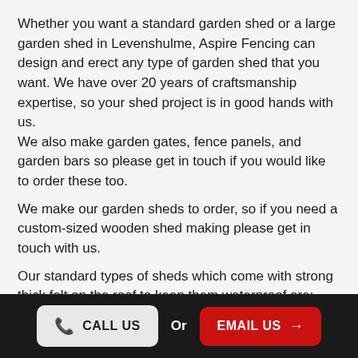Whether you want a standard garden shed or a large garden shed in Levenshulme, Aspire Fencing can design and erect any type of garden shed that you want. We have over 20 years of craftsmanship expertise, so your shed project is in good hands with us. We also make garden gates, fence panels, and garden bars so please get in touch if you would like to order these too.
We make our garden sheds to order, so if you need a custom-sized wooden shed making please get in touch with us.
Our standard types of sheds which come with strong thick felt on the roof to keep them waterproof are:
4×4 Pent Roof Sheds
CALL US  Or  EMAIL US →